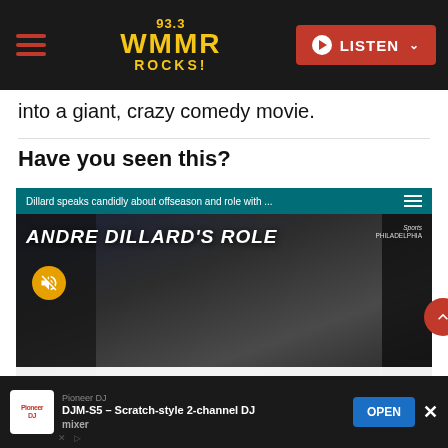93.3 WMMR ROCKS! | LISTEN
into a giant, crazy comedy movie.
Have you seen this?
[Figure (screenshot): Embedded NBC Sports Philadelphia video player showing 'ANDRE DILLARD'S ROLE' with top bar text 'Dillard speaks candidly about offseason and role with ...' and bottom caption 'ANDRE DILLARD HAS HAD AN IMPRESSIVE TRAINING CAMP BUT STILL FINDS HIMSELF 2ND ON THE EAGLES DEPTH CHART AT LEFT TACKLE'. A mute icon is visible and a red scroll-to-top button appears at the right.]
Pioneer DJ | DJM-S5 – Scratch-style 2-channel DJ mixer | OPEN